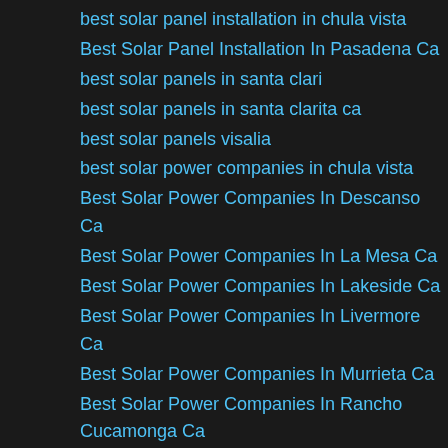best solar panel installation in chula vista
Best Solar Panel Installation In Pasadena Ca
best solar panels in santa clari
best solar panels in santa clarita ca
best solar panels visalia
best solar power companies in chula vista
Best Solar Power Companies In Descanso Ca
Best Solar Power Companies In La Mesa Ca
Best Solar Power Companies In Lakeside Ca
Best Solar Power Companies In Livermore Ca
Best Solar Power Companies In Murrieta Ca
Best Solar Power Companies In Rancho Cucamonga Ca
Best Solar Power Companies In Rancho Santa Fe Ca
Best Solar Power Companies In San Diego County Ca
Best Solar Power Companies Pasadena
Best Solar Power Companies Rancho Cucamonga
Best Solar Power Companies Sunnyvale